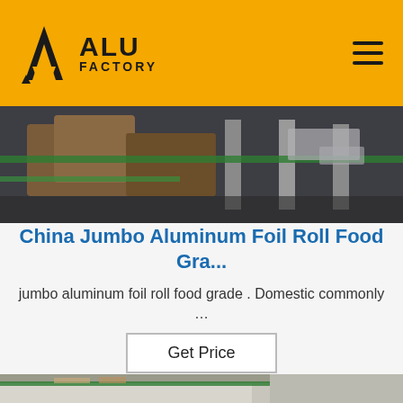ALU FACTORY
[Figure (photo): Industrial photo showing aluminum foil rolls or metal industrial equipment with brown/dark tones, straps, and metallic surfaces]
China Jumbo Aluminum Foil Roll Food Gra...
jumbo aluminum foil roll food grade . Domestic commonly …
[Figure (photo): Factory/warehouse interior photo showing metal shelving or equipment with green tape/straps, white walls with handwritten labels in red ink, and a TOP badge/watermark in blue dotted circle in the lower right]